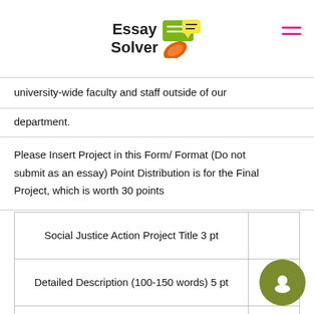Essay Solver
university-wide faculty and staff outside of our department.
Please Insert Project in this Form/ Format (Do not submit as an essay) Point Distribution is for the Final Project, which is worth 30 points
| Social Justice Action Project Title 3 pt |  |
| Detailed Description (100-150 words) 5 pt |  |
| Target Group/ Audience 3 pt |  |
| Purpose and Rationale (400-600 words) 10 pt |  |